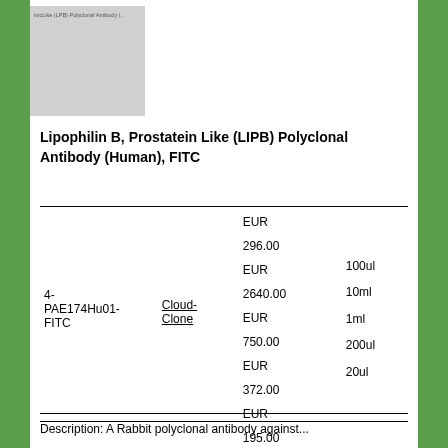[Figure (photo): Thumbnail image placeholder for Lipophilin B Prostatein Like (LIPB) Polyclonal Antibody product with text overlay]
Lipophilin B, Prostatein Like (LIPB) Polyclonal Antibody (Human), FITC
| Catalog | Supplier | Price | Size |
| --- | --- | --- | --- |
| 4-PAE174Hu01-FITC | Cloud-Clone | EUR 296.00
EUR 2640.00
EUR 750.00
EUR 372.00
EUR 195.00 | 100ul
10ml
1ml
200ul
20ul |
Description: A Rabbit polyclonal antibody against...